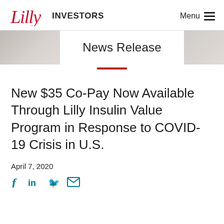Lilly INVESTORS  Menu
News Release
New $35 Co-Pay Now Available Through Lilly Insulin Value Program in Response to COVID-19 Crisis in U.S.
April 7, 2020
[Figure (other): Social media sharing icons: Facebook, LinkedIn, Twitter, Email]